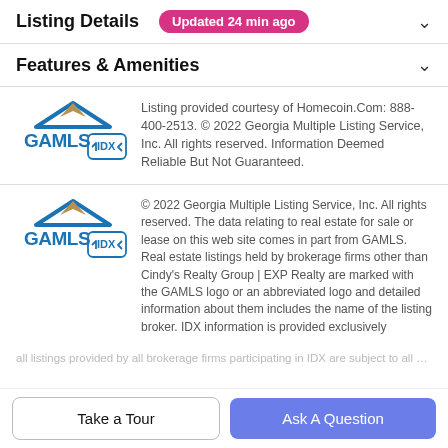Listing Details Updated 24 min ago
Features & Amenities
[Figure (logo): GAMLS IDX logo — blue house roof with GAMLS text and IDX badge with arrows]
Listing provided courtesy of Homecoin.Com: 888-400-2513. © 2022 Georgia Multiple Listing Service, Inc. All rights reserved. Information Deemed Reliable But Not Guaranteed.
[Figure (logo): GAMLS IDX logo — blue house roof with GAMLS text and IDX badge with arrows]
© 2022 Georgia Multiple Listing Service, Inc. All rights reserved. The data relating to real estate for sale or lease on this web site comes in part from GAMLS. Real estate listings held by brokerage firms other than Cindy's Realty Group | EXP Realty are marked with the GAMLS logo or an abbreviated logo and detailed information about them includes the name of the listing broker. IDX information is provided exclusively
[faded/truncated continuation]
Take a Tour
Ask A Question